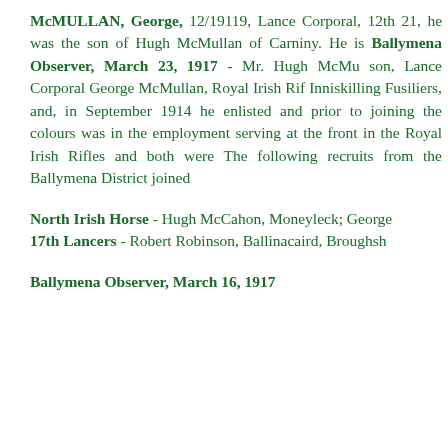McMULLAN, George, 12/19119, Lance Corporal, 12th 21, he was the son of Hugh McMullan of Carniny. He is Ballymena Observer, March 23, 1917 - Mr. Hugh McMu son, Lance Corporal George McMullan, Royal Irish Rif Inniskilling Fusiliers, and, in September 1914 he enlisted and prior to joining the colours was in the employment serving at the front in the Royal Irish Rifles and both were The following recruits from the Ballymena District joined
North Irish Horse - Hugh McCahon, Moneyleck; George 17th Lancers - Robert Robinson, Ballinacaird, Broughsh
Ballymena Observer, March 16, 1917